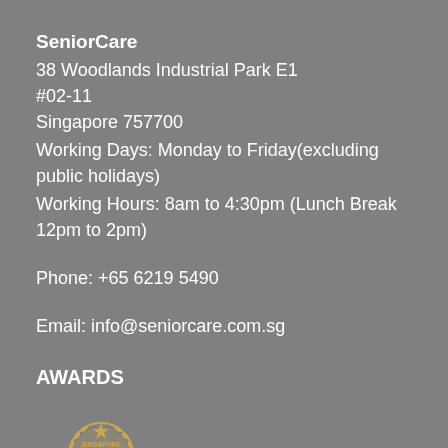SeniorCare
38 Woodlands Industrial Park E1
#02-11
Singapore 757700
Working Days: Monday to Friday(excluding public holidays)
Working Hours: 8am to 4:30pm (Lunch Break 12pm to 2pm)
Phone: +65 6219 5490
Email: info@seniorcare.com.sg
AWARDS
[Figure (logo): Singapore Best Ecommerce Website award badge with golden laurel wreath border]